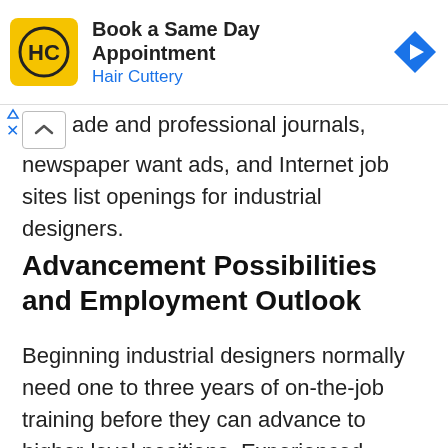[Figure (infographic): Advertisement banner for Hair Cuttery: yellow logo with HC initials, text 'Book a Same Day Appointment / Hair Cuttery', blue diamond navigation arrow icon on right]
ade and professional journals, newspaper want ads, and Internet job sites list openings for industrial designers.
Advancement Possibilities and Employment Outlook
Beginning industrial designers normally need one to three years of on-the-job training before they can advance to higher-level positions. Experienced designers in large firms may advance to chief designer, design department head, or other